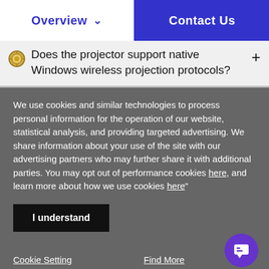Overview | Contact Us
Does the projector support native Windows wireless projection protocols?
We use cookies and similar technologies to process personal information for the operation of our website, statistical analysis, and providing targeted advertising. We share information about your use of the site with our advertising partners who may further share it with additional parties. You may opt out of performance cookies here, and learn more about how we use cookies here"
I understand
Cookie Setting   Find More